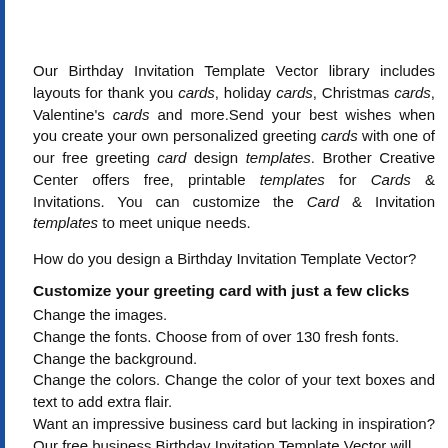Our Birthday Invitation Template Vector library includes layouts for thank you cards, holiday cards, Christmas cards, Valentine's cards and more.Send your best wishes when you create your own personalized greeting cards with one of our free greeting card design templates. Brother Creative Center offers free, printable templates for Cards & Invitations. You can customize the Card & Invitation templates to meet unique needs.
How do you design a Birthday Invitation Template Vector?
Customize your greeting card with just a few clicks
Change the images.
Change the fonts. Choose from of over 130 fresh fonts.
Change the background.
Change the colors. Change the color of your text boxes and text to add extra flair.
Want an impressive business card but lacking in inspiration? Our free business Birthday Invitation Template Vector will